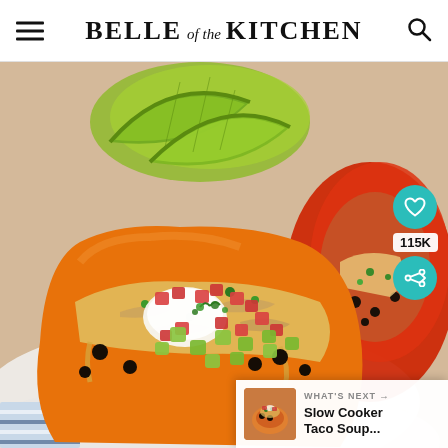BELLE of the KITCHEN
[Figure (photo): Close-up photo of stuffed bell peppers topped with melted cheese, sour cream, diced tomatoes, avocado chunks, and fresh cilantro, served on a white plate with lime wedges. In the background is another stuffed red pepper. The foreground pepper is orange/yellow. A 'What's Next' overlay shows a thumbnail and text 'Slow Cooker Taco Soup...' with 115K share count and social buttons.]